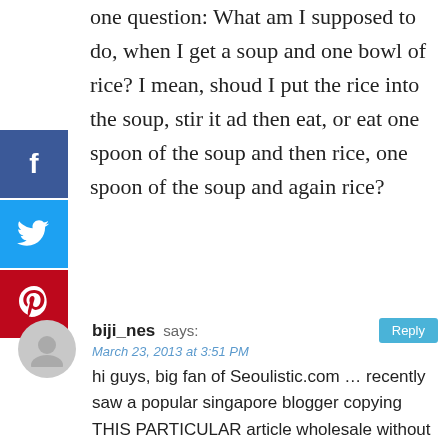one question: What am I supposed to do, when I get a soup and one bowl of rice? I mean, shoud I put the rice into the soup, stir it ad then eat, or eat one spoon of the soup and then rice, one spoon of the soup and again rice?
[Figure (other): Social media share buttons: Facebook (blue), Twitter (light blue), Pinterest (red)]
biji_nes says:
March 23, 2013 at 3:51 PM
hi guys, big fan of Seoulistic.com … recently saw a popular singapore blogger copying THIS PARTICULAR article wholesale without crediting. not sure what i should do, so just letting you know.